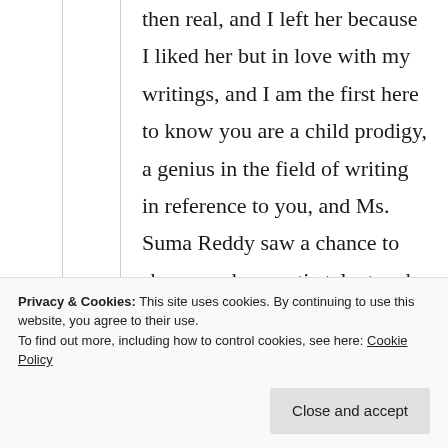then real, and I left her because I liked her but in love with my writings, and I am the first here to know you are a child prodigy, a genius in the field of writing in reference to you, and Ms. Suma Reddy saw a chance to showcase her poetic talent and you are the recipient of her talent and rightly so, but I used the principle of Psychology to influence Suma to recognize you as a prodigy and other
Privacy & Cookies: This site uses cookies. By continuing to use this website, you agree to their use.
To find out more, including how to control cookies, see here: Cookie Policy